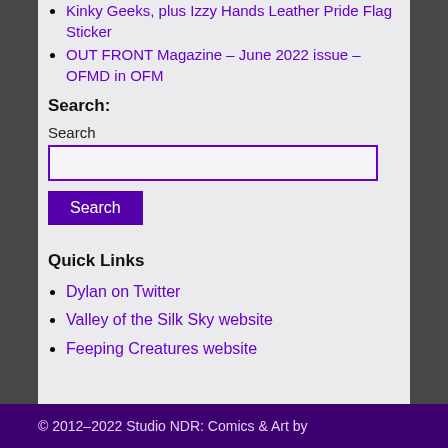Kinky Geeks, plus Izzy Hands Leather Pride Flag Sticker
OUT FRONT Magazine – June 2022 issue – OFMD in OFM
Search:
Search
Quick Links
Dylan on Twitter
Valley of the Silk Sky website
Feeping Creatures website
© 2012–2022 Studio NDR: Comics & Art by